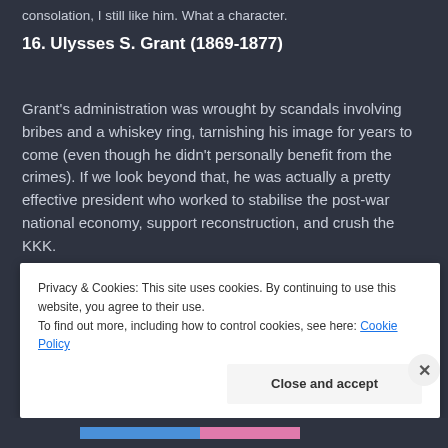consolation, I still like him. What a character.
16. Ulysses S. Grant (1869-1877)
Grant's administration was wrought by scandals involving bribes and a whiskey ring, tarnishing his image for years to come (even though he didn't personally benefit from the crimes). If we look beyond that, he was actually a pretty effective president who worked to stabilise the post-war national economy, support reconstruction, and crush the KKK.
Privacy & Cookies: This site uses cookies. By continuing to use this website, you agree to their use.
To find out more, including how to control cookies, see here: Cookie Policy
Close and accept